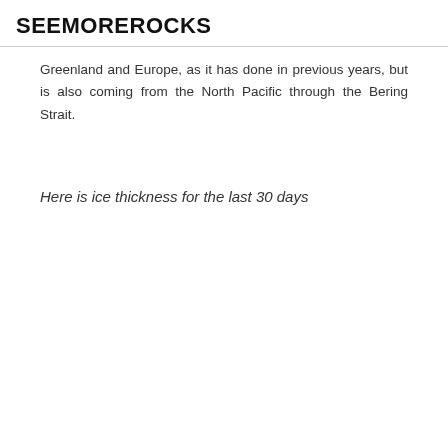SEEMOREROCKS
Greenland and Europe, as it has done in previous years, but is also coming from the North Pacific through the Bering Strait.
Here is ice thickness for the last 30 days